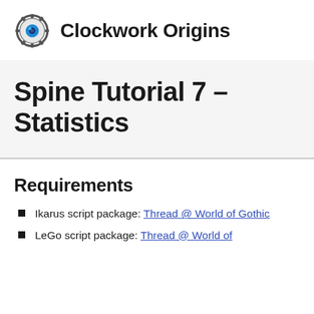Clockwork Origins
Spine Tutorial 7 – Statistics
Requirements
Ikarus script package: Thread @ World of Gothic
LeGo script package: Thread @ World of